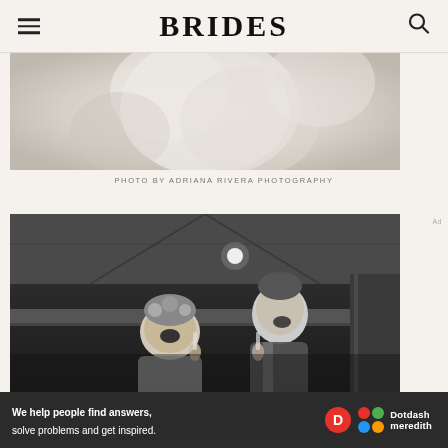BRIDES
[Figure (photo): Close-up photo of white fabric or floral details, soft and blurred]
PHOTO BY ADRIANA RIVERA PHOTOGRAPHY
[Figure (photo): Black and white photo of a bride and groom laughing together indoors, under a lit ceiling]
[Figure (other): Dotdash Meredith advertisement bar: We help people find answers, solve problems and get inspired.]